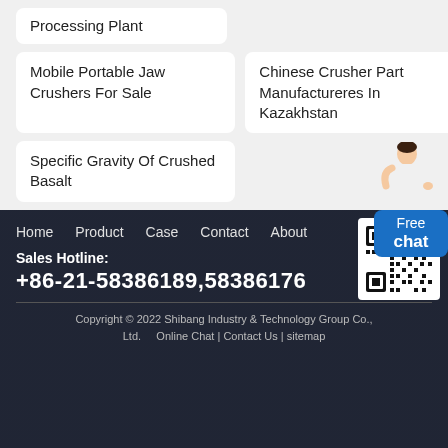Processing Plant
Mobile Portable Jaw Crushers For Sale
Chinese Crusher Part Manufactureres In Kazakhstan
Specific Gravity Of Crushed Basalt
[Figure (illustration): Female customer service representative illustration with Free chat button]
Home  Product  Case  Contact  About
[Figure (other): QR code for WeChat or contact]
Sales Hotline:
+86-21-58386189,58386176
Copyright © 2022 Shibang Industry & Technology Group Co., Ltd.  Online Chat | Contact Us | sitemap